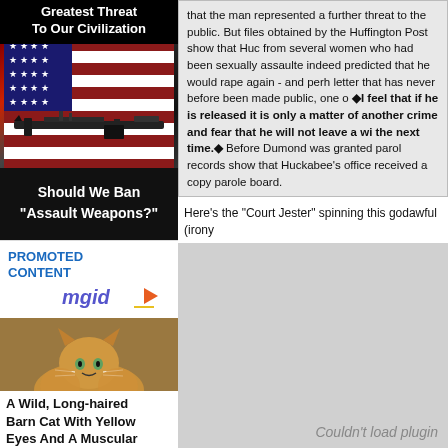Greatest Threat To Our Civilization
[Figure (photo): Assault rifle on American flag background]
Should We Ban "Assault Weapons?"
PROMOTED CONTENT
[Figure (logo): mgid logo with play arrow]
[Figure (photo): A wild long-haired orange barn cat lying down]
A Wild, Long-haired Barn Cat With Yellow Eyes And A Muscular
that the man represented a further threat to the public. But files obtained by the Huffington Post show that Huc from several women who had been sexually assaulte indeed predicted that he would rape again - and perh letter that has never before been made public, one o ◆I feel that if he is released it is only a matter of another crime and fear that he will not leave a wi the next time.◆ Before Dumond was granted parol records show that Huckabee's office received a copy parole board.
Here's the "Court Jester" spinning this godawful (irony
Couldn't load plugin